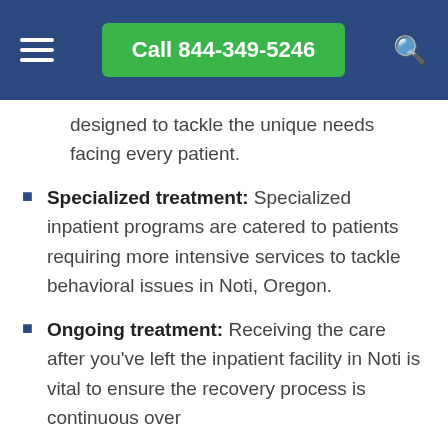Call 844-349-5246
designed to tackle the unique needs facing every patient.
Specialized treatment: Specialized inpatient programs are catered to patients requiring more intensive services to tackle behavioral issues in Noti, Oregon.
Ongoing treatment: Receiving the care after you've left the inpatient facility in Noti is vital to ensure the recovery process is continuous over